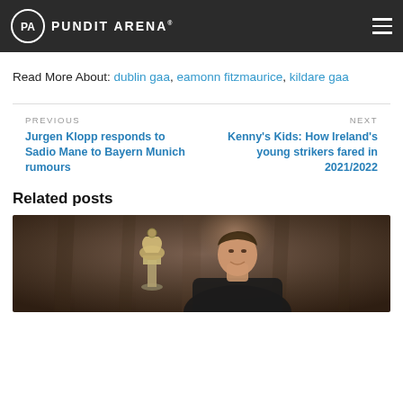PUNDIT ARENA
Read More About: dublin gaa, eamonn fitzmaurice, kildare gaa
PREVIOUS
Jurgen Klopp responds to Sadio Mane to Bayern Munich rumours
NEXT
Kenny's Kids: How Ireland's young strikers fared in 2021/2022
Related posts
[Figure (photo): Young man in dark shirt holding a trophy against a brown/dark curtain background]